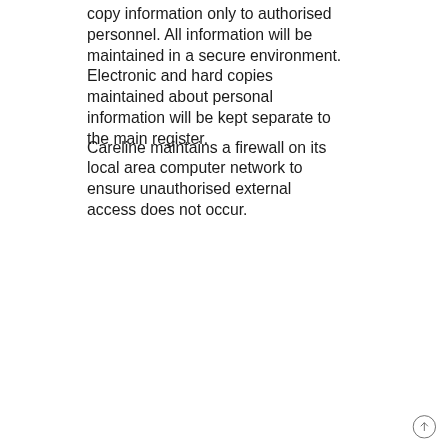copy information only to authorised personnel. All information will be maintained in a secure environment. Electronic and hard copies maintained about personal information will be kept separate to the main register.
Careline maintains a firewall on its local area computer network to ensure unauthorised external access does not occur.